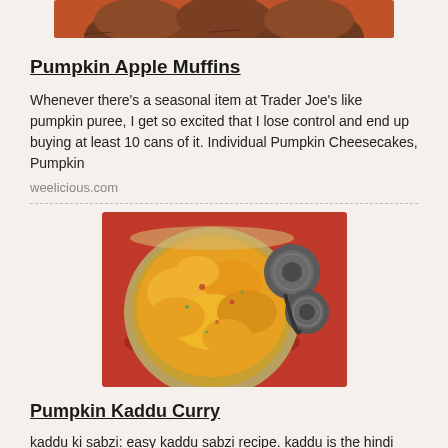[Figure (photo): Photo of pumpkin apple muffins on a red/orange plate, cropped to show just the bottom portion of the image]
Pumpkin Apple Muffins
Whenever there's a seasonal item at Trader Joe's like pumpkin puree, I get so excited that I lose control and end up buying at least 10 cans of it. Individual Pumpkin Cheesecakes, Pumpkin
weelicious.com
[Figure (photo): Photo of pumpkin kaddu curry in a metal bowl on a red cloth, with decorative metal items (Tibetan cymbals/tingsha) beside the bowl]
Pumpkin Kaddu Curry
kaddu ki sabzi: easy kaddu sabzi recipe. kaddu is the hindi